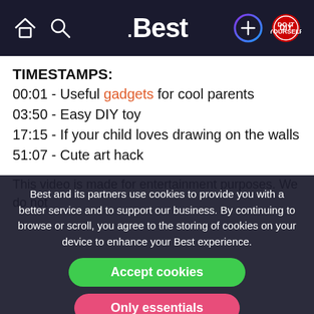.Best — navigation header with home, search, logo, plus, and DIY icons
TIMESTAMPS:
00:01 - Useful gadgets for cool parents
03:50 - Easy DIY toy
17:15 - If your child loves drawing on the walls
51:07 - Cute art hack
This video is made for entertainment purposes. We do not... (partially visible)
Best and its partners use cookies to provide you with a better service and to support our business. By continuing to browse or scroll, you agree to the storing of cookies on your device to enhance your Best experience.
Accept cookies
Only essentials
Learn more about our privacy policy.